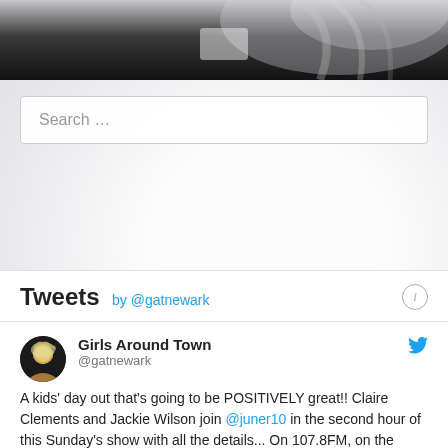[Figure (photo): Grayscale banner image with dark band at bottom, appears to show a person with light hair, partially visible]
Search …
Tweets by @gatnewark
Girls Around Town
@gatnewark
A kids' day out that's going to be POSITIVELY great!! Claire Clements and Jackie Wilson join @juner10 in the second hour of this Sunday's show with all the details... On 107.8FM, on the apps and online at